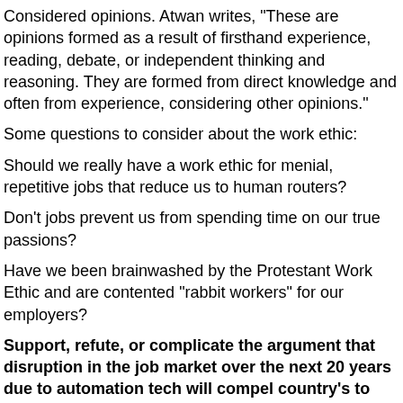Considered opinions. Atwan writes, "These are opinions formed as a result of firsthand experience, reading, debate, or independent thinking and reasoning. They are formed from direct knowledge and often from experience, considering other opinions."
Some questions to consider about the work ethic:
Should we really have a work ethic for menial, repetitive jobs that reduce us to human routers?
Don't jobs prevent us from spending time on our true passions?
Have we been brainwashed by the Protestant Work Ethic and are contented "rabbit workers" for our employers?
Support, refute, or complicate the argument that disruption in the job market over the next 20 years due to automation tech will compel country's to provide their citizens with a Universal Basic Income. Consult the following:
Big Think video (7 minutes)